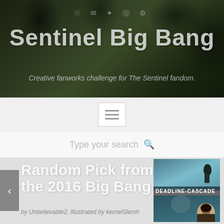Sentinel Big Bang
Creative fanworks challenge for The Sentinel fandom.
[Figure (screenshot): Navigation menu button with horizontal lines icon]
Type your search
Random Pick from the 2016 Big Bang
by Unbelievable2, Illustrated by kernelSlemh
[Figure (photo): Book cover image for 'Deadline-Cascade' featuring scenes from The Sentinel TV show]